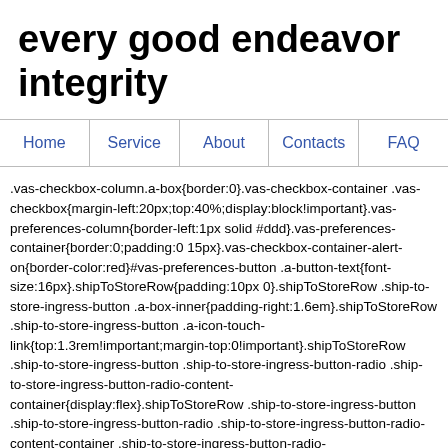every good endeavor integrity
Home   Service   About   Contacts   FAQ
.vas-checkbox-column.a-box{border:0}.vas-checkbox-container .vas-checkbox{margin-left:20px;top:40%;display:block!important}.vas-preferences-column{border-left:1px solid #ddd}.vas-preferences-container{border:0;padding:0 15px}.vas-checkbox-container-alert-on{border-color:red}#vas-preferences-button .a-button-text{font-size:16px}.shipToStoreRow{padding:10px 0}.shipToStoreRow .ship-to-store-ingress-button .a-box-inner{padding-right:1.6em}.shipToStoreRow .ship-to-store-ingress-button .a-icon-touch-link{top:1.3rem!important;margin-top:0!important}.shipToStoreRow .ship-to-store-ingress-button .ship-to-store-ingress-button-radio .ship-to-store-ingress-button-radio-content-container{display:flex}.shipToStoreRow .ship-to-store-ingress-button .ship-to-store-ingress-button-radio .ship-to-store-ingress-button-radio-content-container .ship-to-store-ingress-button-radio-content{flex:1}.shipToStoreRow .ship-to-store-ingress-button .ship-to-store-ingress-button-radio i{top:1.3rem!important}.shipToStoreRow .ship-to-store-ingress-button [data-a-input-name=ship-to-store-offer-selected]{padding-top:0;padding-bottom:0}.shipToStoreRow ship-to-store-ingress-